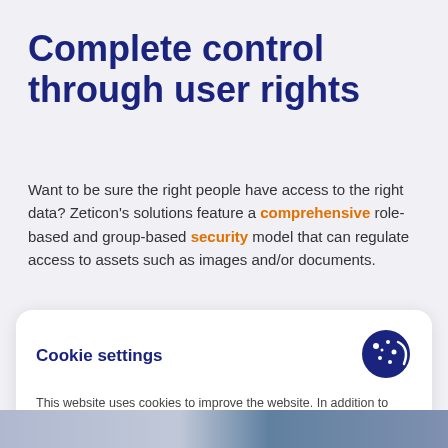Complete control through user rights
Want to be sure the right people have access to the right data? Zeticon's solutions feature a comprehensive role-based and group-based security model that can regulate access to assets such as images and/or documents.
Cookie settings
This website uses cookies to improve the website. In addition to necessary cookies, so that the website works properly, we also place Analytical cookies to optimize your experience on our site. Third parties and social networks can also place cookies. We ask your permission for those cookies.
More info ∨
Decline   Accept all